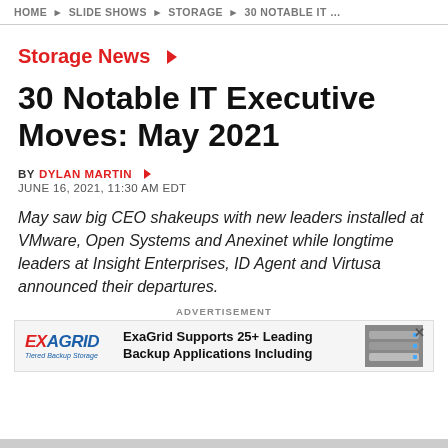HOME ▶ SLIDE SHOWS ▶ STORAGE ▶ 30 NOTABLE IT …
Storage News ▶
30 Notable IT Executive Moves: May 2021
BY DYLAN MARTIN ▶
JUNE 16, 2021, 11:30 AM EDT
May saw big CEO shakeups with new leaders installed at VMware, Open Systems and Anexinet while longtime leaders at Insight Enterprises, ID Agent and Virtusa announced their departures.
[Figure (other): Advertisement banner: ExaGrid logo with tagline 'Tiered Backup Storage'. Text reads 'ExaGrid Supports 25+ Leading Backup Applications Including'. Image of storage hardware on right side. X close button top right.]